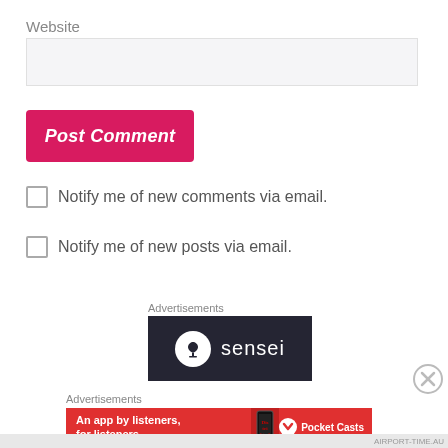Website
[Figure (screenshot): Website input field (empty, light gray background)]
[Figure (screenshot): Post Comment button (pink/magenta background, white italic text)]
Notify me of new comments via email.
Notify me of new posts via email.
Advertisements
[Figure (logo): Sensei logo on dark background with tree icon in white circle]
Advertisements
[Figure (screenshot): Pocket Casts ad: An app by listeners, for listeners. Red background with phone image and Pocket Casts logo.]